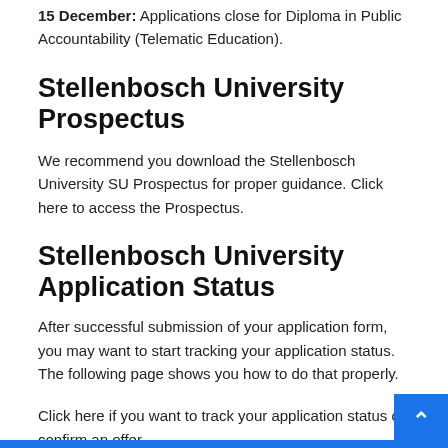15 December: Applications close for Diploma in Public Accountability (Telematic Education).
Stellenbosch University Prospectus
We recommend you download the Stellenbosch University SU Prospectus for proper guidance. Click here to access the Prospectus.
Stellenbosch University Application Status
After successful submission of your application form, you may want to start tracking your application status. The following page shows you how to do that properly.
Click here if you want to track your application status or confirm an offer.